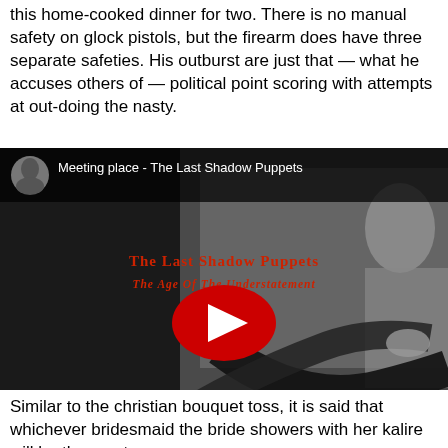this home-cooked dinner for two. There is no manual safety on glock pistols, but the firearm does have three separate safeties. His outburst are just that — what he accuses others of — political point scoring with attempts at out-doing the nasty.
[Figure (screenshot): An embedded YouTube video thumbnail showing 'Meeting place - The Last Shadow Puppets'. The thumbnail is a black-and-white image of a person at a steering wheel, with album title text overlaid in red: 'The Last Shadow Puppets / The Age Of The Understatement'. A red YouTube play button is centered on the image. The top bar shows a user avatar and the video title. The bottom bar shows 'Watch on YouTube'.]
Similar to the christian bouquet toss, it is said that whichever bridesmaid the bride showers with her kalire will be the one to